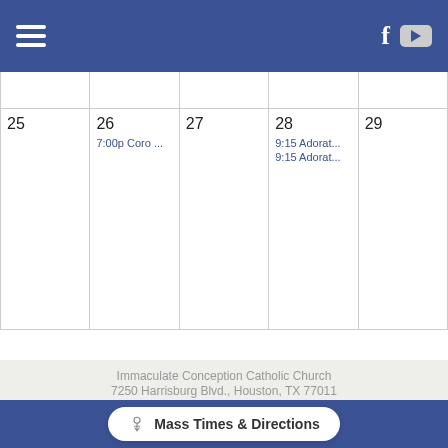Navigation bar with hamburger menu, Facebook and YouTube icons
|  |  |  |  |  |
| --- | --- | --- | --- | --- |
|  |  |  |  |  |
| 25 | 26
7:00p Coro ... | 27 | 28
9:15 Adorat...
9:15 Adorat... | 29 |
Immaculate Conception Catholic Church
7250 Harrisburg Blvd., Houston, TX 77011
(713) 921-1261 Office
Hours: Mon-Fri 9:00AM - 5:00PM
Closed for Lunch: 1:00PM - 2:00PM
Mass Times & Directions